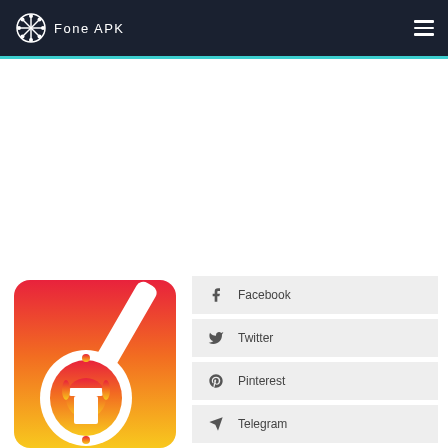Fone APK
[Figure (logo): Fone APK snowflake logo in white on dark navy header]
[Figure (illustration): GarageBand app icon — white guitar silhouette on red-orange-yellow gradient background]
Facebook
Twitter
Pinterest
Telegram
Whatsapp